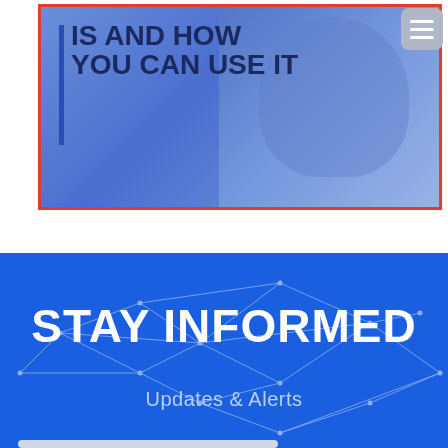[Figure (illustration): Banner image with blue/purple gradient background, a person's face on the right side, a vertical blue bar on the left, bold dark text reading 'IS AND HOW YOU CAN USE IT', red border, and a hamburger menu icon in the top right corner.]
[Figure (infographic): Blue section with network/polygon geometric pattern in white lines. Large bold white text 'STAY INFORMED' and subtitle 'Updates & Alerts' in lighter blue text below.]
STAY INFORMED
Updates & Alerts